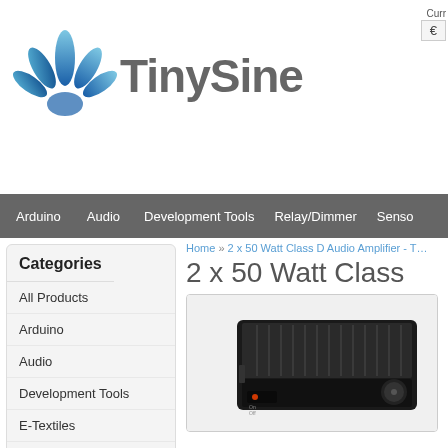TinySine
Currency €
Arduino | Audio | Development Tools | Relay/Dimmer | Senso
Home » 2 x 50 Watt Class D Audio Amplifier - T…
Categories
All Products
Arduino
Audio
Development Tools
E-Textiles
LCDs&OLEDs
LEDs
Power Supply
2 x 50 Watt Class
[Figure (photo): Photo of a 2 x 50 Watt Class D Audio Amplifier in a black aluminum enclosure with ridged heat-sink top, volume knob on the right side, and power LED on front panel.]